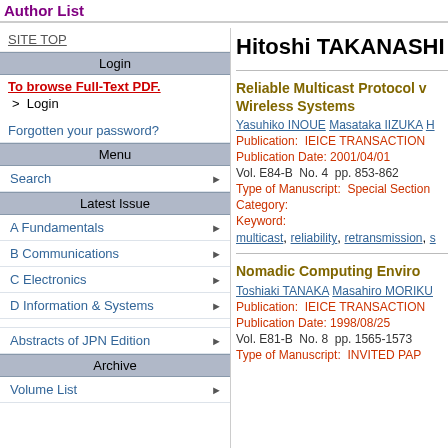Author List
SITE TOP
Login
To browse Full-Text PDF.
> Login
Forgotten your password?
Menu
Search
Latest Issue
A Fundamentals
B Communications
C Electronics
D Information & Systems
Abstracts of JPN Edition
Archive
Volume List
Hitoshi TAKANASHI
Reliable Multicast Protocol v Wireless Systems
Yasuhiko INOUE Masataka IIZUKA H
Publication: IEICE TRANSACTION
Publication Date: 2001/04/01
Vol. E84-B No. 4 pp. 853-862
Type of Manuscript: Special Section
Category:
Keyword:
multicast, reliability, retransmission, s
Nomadic Computing Environ
Toshiaki TANAKA Masahiro MORIKU
Publication: IEICE TRANSACTION
Publication Date: 1998/08/25
Vol. E81-B No. 8 pp. 1565-1573
Type of Manuscript: INVITED PAP